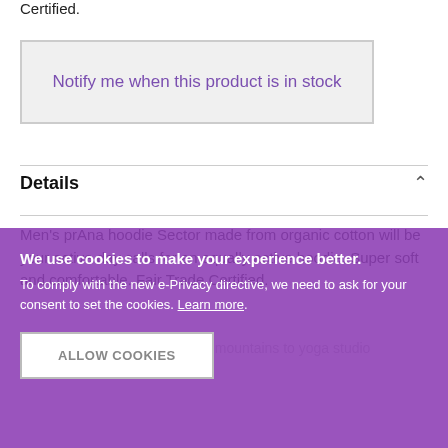Certified.
Notify me when this product is in stock
Details
Men's prAna hoodie Sector made from organic cotton will be your active day calls for an equally active hoodie. Super soft and comfortable. Fair Trade Certified.
Great for everyday use, from mountains to yoga studio
Kangaroo hand pockets
We use cookies to make your experience better. To comply with the new e-Privacy directive, we need to ask for your consent to set the cookies. Learn more.
ALLOW COOKIES